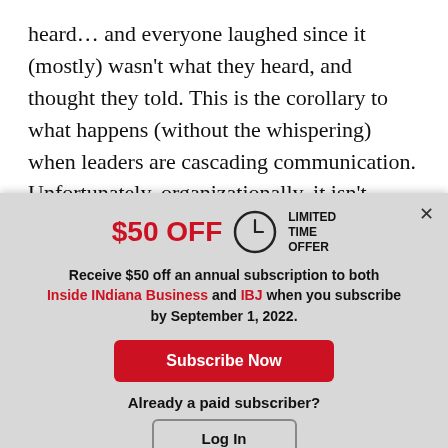heard… and everyone laughed since it (mostly) wasn't what they heard, and thought they told. This is the corollary to what happens (without the whispering) when leaders are cascading communication. Unfortunately, organizationally, it isn't always a game and miscommunication can be
[Figure (screenshot): A modal popup advertising $50 OFF a limited time offer. Contains a clock icon, bold red '$50 OFF' text, 'LIMITED TIME OFFER' label, subscription pitch for Inside INdiana Business and IBJ, a red 'Subscribe Now' button, and a 'Log In' button for existing subscribers.]